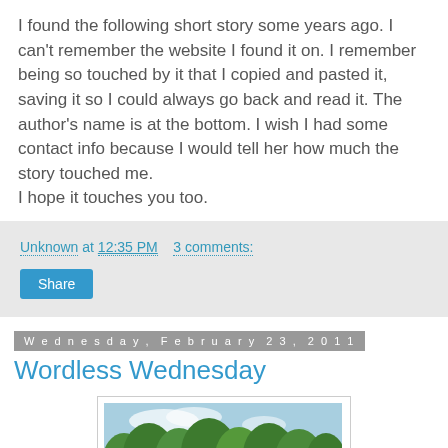I found the following short story some years ago. I can't remember the website I found it on. I remember being so touched by it that I copied and pasted it, saving it so I could always go back and read it. The author's name is at the bottom. I wish I had some contact info because I would tell her how much the story touched me.
I hope it touches you too.
Unknown at 12:35 PM   3 comments:
Share
Wednesday, February 23, 2011
Wordless Wednesday
[Figure (photo): Outdoor photo showing green trees against a blue sky with clouds]